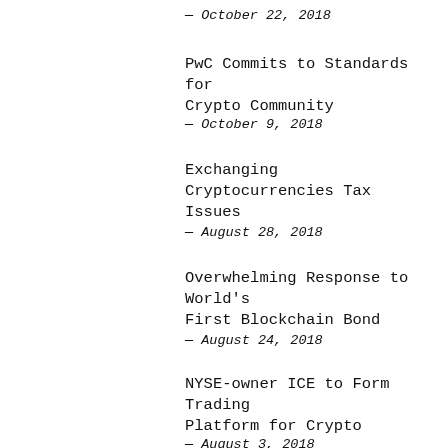— October 22, 2018
PwC Commits to Standards for Crypto Community
— October 9, 2018
Exchanging Cryptocurrencies Tax Issues
— August 28, 2018
Overwhelming Response to World's First Blockchain Bond
— August 24, 2018
NYSE-owner ICE to Form Trading Platform for Crypto
— August 3, 2018